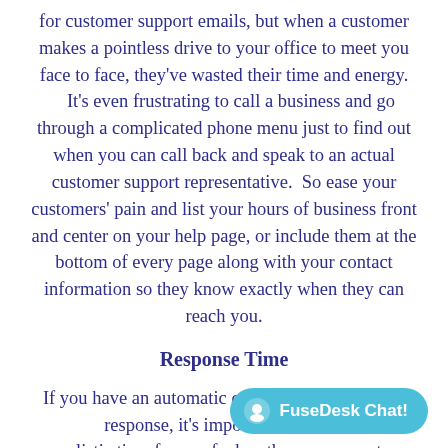for customer support emails, but when a customer makes a pointless drive to your office to meet you face to face, they've wasted their time and energy. It's even frustrating to call a business and go through a complicated phone menu just to find out when you can call back and speak to an actual customer support representative.  So ease your customers' pain and list your hours of business front and center on your help page, or include them at the bottom of every page along with your contact information so they know exactly when they can reach you.
Response Time
If you have an automatic customer support email response, it's important t… realistic time frame of when they can expect a